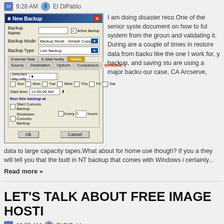9:28 AM   El DiPablo
[Figure (screenshot): Windows dialog box titled 'New Backup' showing backup configuration settings with fields for Backup Name, Backup Mode (Simple Copy), Backup Type (Live Backup), tabs for External Task, E-Mail Notify, Timer, Source, Destination, Options, Comparison, Schedule. Schedule tab is active showing Selected day only dropdown, day checkboxes (Sun, Mon, Tue, Wed, Thu, Fri, Sat), Start time 12:00:00 AM, and Run this backup at options including Start Comodo Backup, Shutdown Comodo Backup, Every checkbox with input. OK and Cancel buttons at bottom.]
I am doing disaster reco One of the senior syste document on how to ful system from the groun and validating it. During are a couple of times in restore data from backu like the one I work for, y backup, and saving stu are using a major backu our case, CA Arcserve,
data to large capacity tapes.What about for home use though? If you a they will tell you that the built in NT backup that comes with Windows i certainly...
Read more »
LET'S TALK ABOUT FREE IMAGE HOSTI
12:55 AM   El DiPablo